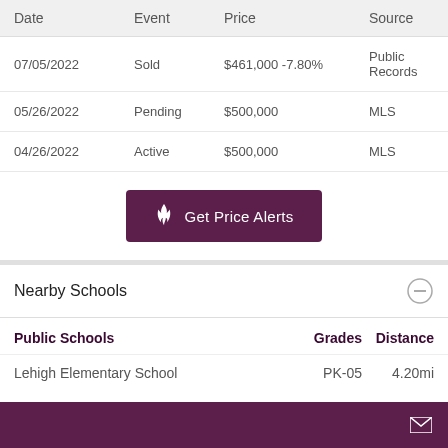| Date | Event | Price | Source |
| --- | --- | --- | --- |
| 07/05/2022 | Sold | $461,000 -7.80% | Public Records |
| 05/26/2022 | Pending | $500,000 | MLS |
| 04/26/2022 | Active | $500,000 | MLS |
[Figure (other): Get Price Alerts button with flame icon]
Nearby Schools
| Public Schools | Grades | Distance |
| --- | --- | --- |
| Lehigh Elementary School | PK-05 | 4.20mi |